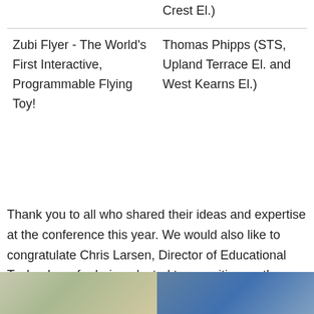|  | Crest El.) |
| Zubi Flyer - The World's First Interactive, Programmable Flying Toy! | Thomas Phipps (STS, Upland Terrace El. and West Kearns El.) |
Thank you to all who shared their ideas and expertise at the conference this year. We would also like to congratulate Chris Larsen, Director of Educational Technology, for being elected to a position on the UCET Board during the conference.
[Figure (photo): Two photos of people, partially visible at the bottom of the page.]